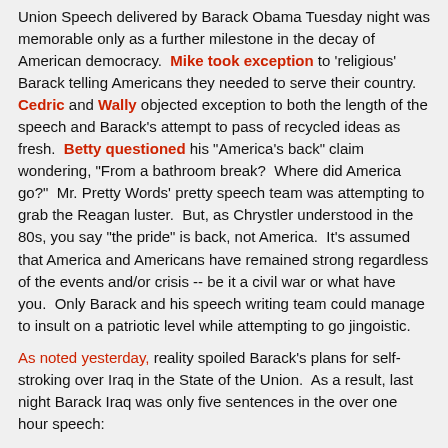Union Speech delivered by Barack Obama Tuesday night was memorable only as a further milestone in the decay of American democracy.  Mike took exception to 'religious' Barack telling Americans they needed to serve their country.  Cedric and Wally objected exception to both the length of the speech and Barack's attempt to pass of recycled ideas as fresh.  Betty questioned his "America's back" claim wondering, "From a bathroom break?  Where did America go?"  Mr. Pretty Words' pretty speech team was attempting to grab the Reagan luster.  But, as Chrystler understood in the 80s, you say "the pride" is back, not America.  It's assumed that America and Americans have remained strong regardless of the events and/or crisis -- be it a civil war or what have you.  Only Barack and his speech writing team could manage to insult on a patriotic level while attempting to go jingoistic.
As noted yesterday, reality spoiled Barack's plans for self-stroking over Iraq in the State of the Union.  As a result, last night Barack Iraq was only five sentences in the over one hour speech:
Last month, I went to Andrews Air Force Base and welcomed home some of our last troops to serve in Iraq.  Together, we offered a final, proud salute to the colors under which more than a million of our fellow citizens fought --  and several thousand gave their lives.  We gather tonight knowing that this generation of heroes has made the United States safer and more respected around the world.  For the first time in nine years, there are no Americans fighting in Iraq. [. . .]  Ending the Iraq war has allowed us to strike decisive